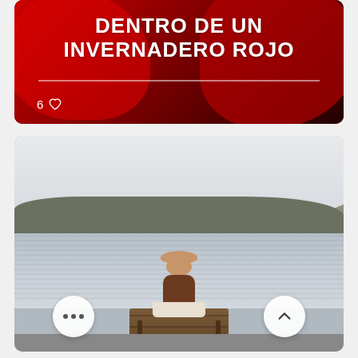[Figure (photo): Top card with red background showing text 'DENTRO DE UN INVERNADERO ROJO' in bold white uppercase letters, with a horizontal white divider line and a heart/likes counter showing '6']
[Figure (photo): Outdoor nature photo of a person sitting on a wooden dock by a calm lake, with bare winter trees and a hill in the background. Two circular buttons at the bottom: a '...' menu button on the left and an upward chevron button on the right.]